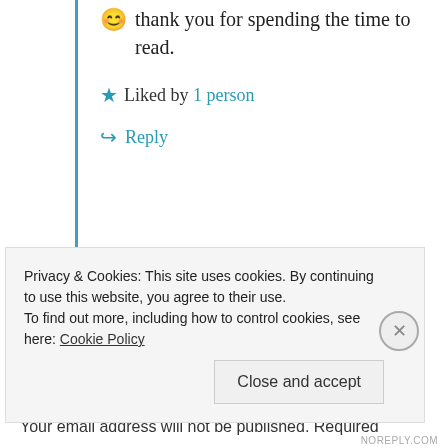😊 thank you for spending the time to read.
★ Liked by 1 person
↪ Reply
Leave a Reply to francescademont
Your email address will not be published. Required
Privacy & Cookies: This site uses cookies. By continuing to use this website, you agree to their use. To find out more, including how to control cookies, see here: Cookie Policy
Close and accept